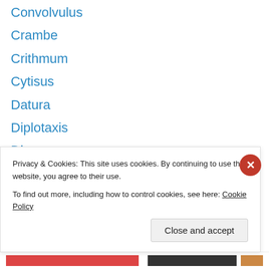Convolvulus
Crambe
Crithmum
Cytisus
Datura
Diplotaxis
Dipsacus
Dorycnium
Echinops
Echium
Erica
Erodium
Eryngium
Euphorbia
Privacy & Cookies: This site uses cookies. By continuing to use this website, you agree to their use. To find out more, including how to control cookies, see here: Cookie Policy